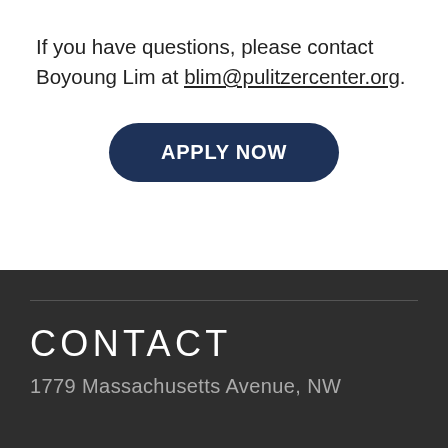If you have questions, please contact Boyoung Lim at blim@pulitzercenter.org.
[Figure (other): Dark navy rounded rectangle button with white uppercase text reading APPLY NOW]
CONTACT
1779 Massachusetts Avenue, NW